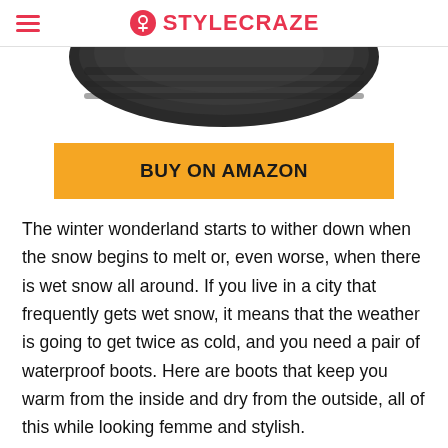STYLECRAZE
[Figure (photo): Close-up of a dark/black boot sole viewed from above, showing rubber tread pattern]
BUY ON AMAZON
The winter wonderland starts to wither down when the snow begins to melt or, even worse, when there is wet snow all around. If you live in a city that frequently gets wet snow, it means that the weather is going to get twice as cold, and you need a pair of waterproof boots. Here are boots that keep you warm from the inside and dry from the outside, all of this while looking femme and stylish.